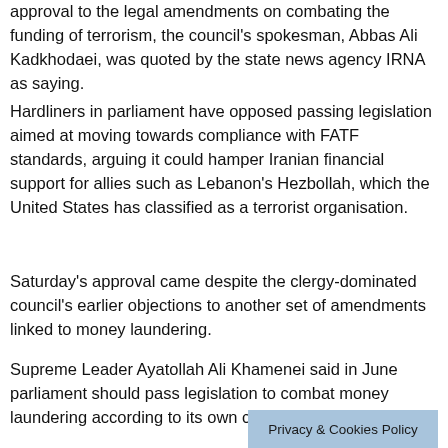approval to the legal amendments on combating the funding of terrorism, the council's spokesman, Abbas Ali Kadkhodaei, was quoted by the state news agency IRNA as saying.
Hardliners in parliament have opposed passing legislation aimed at moving towards compliance with FATF standards, arguing it could hamper Iranian financial support for allies such as Lebanon's Hezbollah, which the United States has classified as a terrorist organisation.
Saturday's approval came despite the clergy-dominated council's earlier objections to another set of amendments linked to money laundering.
Supreme Leader Ayatollah Ali Khamenei said in June parliament should pass legislation to combat money laundering according to its own criteria.